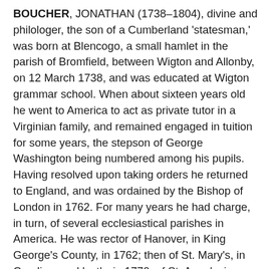BOUCHER, JONATHAN (1738–1804), divine and philologer, the son of a Cumberland 'statesman,' was born at Blencogo, a small hamlet in the parish of Bromfield, between Wigton and Allonby, on 12 March 1738, and was educated at Wigton grammar school. When about sixteen years old he went to America to act as private tutor in a Virginian family, and remained engaged in tuition for some years, the stepson of George Washington being numbered among his pupils. Having resolved upon taking orders he returned to England, and was ordained by the Bishop of London in 1762. For many years he had charge, in turn, of several ecclesiastical parishes in America. He was rector of Hanover, in King George's County, in 1762; then of St. Mary's, in Carolina; and lastly, in 1770, of St. Anne's, in Annapolis. Whilst resident in the new country he lived in intimate friendship with Washington. They often dined together, and spent many hours in talk; but the time soon